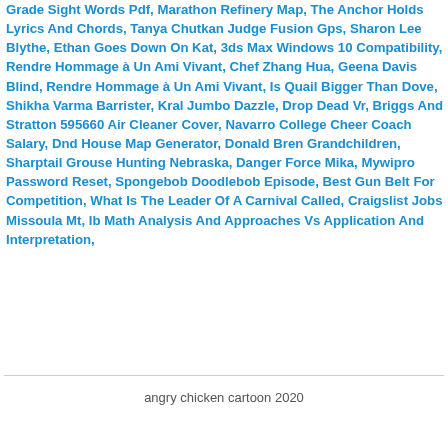Grade Sight Words Pdf, Marathon Refinery Map, The Anchor Holds Lyrics And Chords, Tanya Chutkan Judge Fusion Gps, Sharon Lee Blythe, Ethan Goes Down On Kat, 3ds Max Windows 10 Compatibility, Rendre Hommage à Un Ami Vivant, Chef Zhang Hua, Geena Davis Blind, Rendre Hommage à Un Ami Vivant, Is Quail Bigger Than Dove, Shikha Varma Barrister, Kral Jumbo Dazzle, Drop Dead Vr, Briggs And Stratton 595660 Air Cleaner Cover, Navarro College Cheer Coach Salary, Dnd House Map Generator, Donald Bren Grandchildren, Sharptail Grouse Hunting Nebraska, Danger Force Mika, Mywipro Password Reset, Spongebob Doodlebob Episode, Best Gun Belt For Competition, What Is The Leader Of A Carnival Called, Craigslist Jobs Missoula Mt, Ib Math Analysis And Approaches Vs Application And Interpretation,
angry chicken cartoon 2020